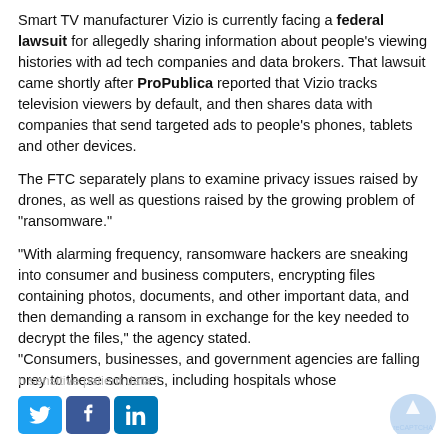Smart TV manufacturer Vizio is currently facing a federal lawsuit for allegedly sharing information about people's viewing histories with ad tech companies and data brokers. That lawsuit came shortly after ProPublica reported that Vizio tracks television viewers by default, and then shares data with companies that send targeted ads to people's phones, tablets and other devices.
The FTC separately plans to examine privacy issues raised by drones, as well as questions raised by the growing problem of "ransomware."
"With alarming frequency, ransomware hackers are sneaking into consumer and business computers, encrypting files containing photos, documents, and other important data, and then demanding a ransom in exchange for the key needed to decrypt the files," the agency stated. "Consumers, businesses, and government agencies are falling prey to these schemes, including hospitals whose
n sensitive patient data.